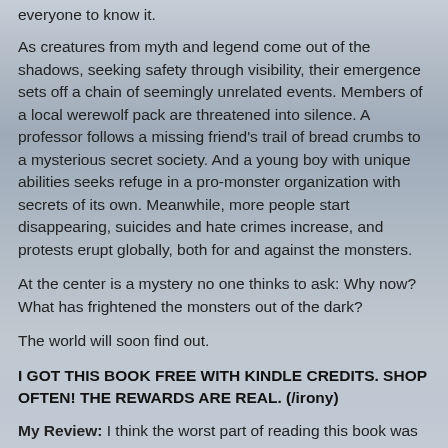everyone to know it.
As creatures from myth and legend come out of the shadows, seeking safety through visibility, their emergence sets off a chain of seemingly unrelated events. Members of a local werewolf pack are threatened into silence. A professor follows a missing friend’s trail of bread crumbs to a mysterious secret society. And a young boy with unique abilities seeks refuge in a pro-monster organization with secrets of its own. Meanwhile, more people start disappearing, suicides and hate crimes increase, and protests erupt globally, both for and against the monsters.
At the center is a mystery no one thinks to ask: Why now? What has frightened the monsters out of the dark?
The world will soon find out.
I GOT THIS BOOK FREE WITH KINDLE CREDITS. SHOP OFTEN! THE REWARDS ARE REAL. (/irony)
My Review: I think the worst part of reading this book was